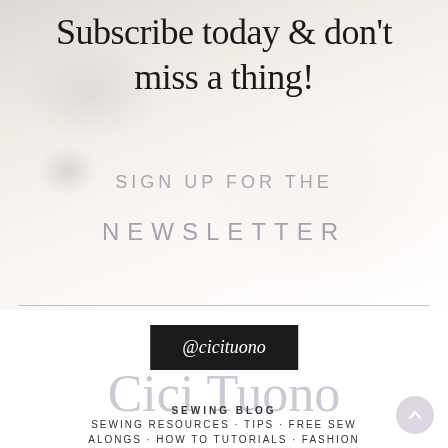[Figure (photo): Blurred background photo of eyeglasses, a coffee cup, and an open book on a light surface]
Subscribe today & don't miss a thing!
SIGN UP FOR THE
NEWSLETTER
@cicituono
Cici Tuono
SEWING BLOG
SEWING RESOURCES · TIPS · FREE SEW
ALONGS · HOW TO TUTORIALS · FASHION